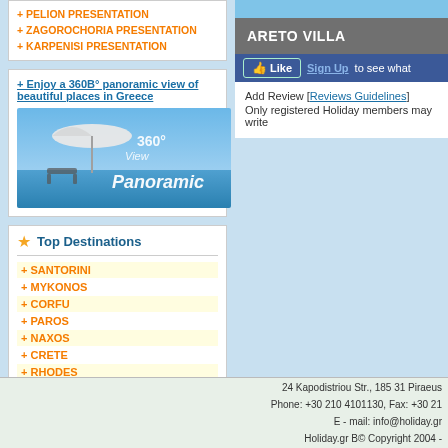+ PELION PRESENTATION
+ ZAGOROCHORIA PRESENTATION
+ KARPENISI PRESENTATION
+ Enjoy a 360B° panoramic view of beautiful places in Greece
[Figure (photo): 360° View Panoramic banner image showing beach umbrella, ocean, and scenic view]
Top Destinations
+ SANTORINI
+ MYKONOS
+ CORFU
+ PAROS
+ NAXOS
+ CRETE
+ RHODES
+ KOS
+ SKIATHOS
ARETO VILLA
Add Review [Reviews Guidelines] Only registered Holiday members may write
24 Kapodistriou Str., 185 31 Piraeus
Phone: +30 210 4101130, Fax: +30 21
E - mail: info@holiday.gr
Holiday.gr B© Copyright 2004 -